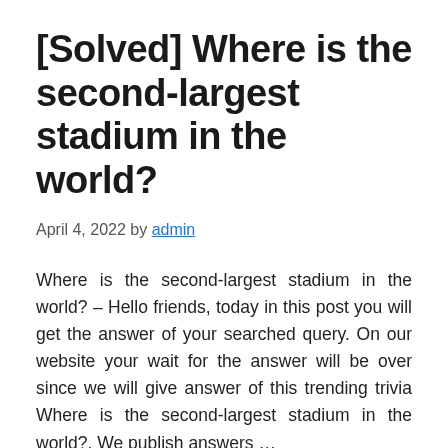[Solved] Where is the second-largest stadium in the world?
April 4, 2022 by admin
Where is the second-largest stadium in the world? – Hello friends, today in this post you will get the answer of your searched query. On our website your wait for the answer will be over since we will give answer of this trending trivia Where is the second-largest stadium in the world?. We publish answers …
Read more